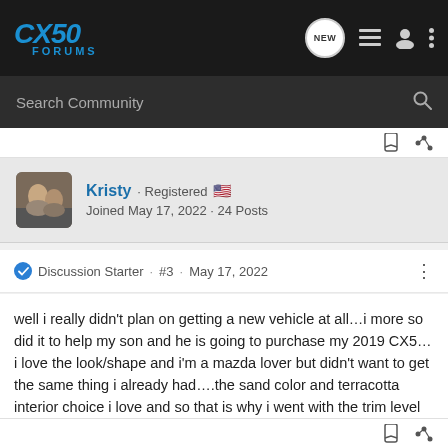CX50 FORUMS
Search Community
Kristy · Registered
Joined May 17, 2022 · 24 Posts
Discussion Starter · #3 · May 17, 2022
well i really didn't plan on getting a new vehicle at all…i more so did it to help my son and he is going to purchase my 2019 CX5…i love the look/shape and i'm a mazda lover but didn't want to get the same thing i already had….the sand color and terracotta interior choice i love and so that is why i went with the trim level that i chose